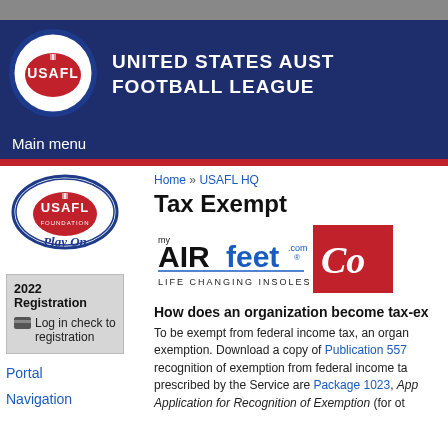[Figure (logo): USAFL logo (oval shape with red football and USAFL text)]
UNITED STATES AUST FOOTBALL LEAGUE
Main menu
[Figure (logo): USAFL Foundation Play On logo]
Home » USAFL HQ
Tax Exempt
[Figure (logo): myAIRfeet.com Life Changing Insoles logo]
[Figure (logo): Coca-Cola logo (partial, red background with cursive white text)]
2022 Registration
Log in check to registration
Portal
Navigation
How does an organization become tax-ex
To be exempt from federal income tax, an organ exemption. Download a copy of Publication 557 recognition of exemption from federal income ta prescribed by the Service are Package 1023, App Application for Recognition of Exemption (for ot